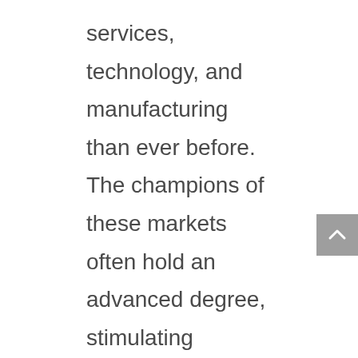services, technology, and manufacturing than ever before. The champions of these markets often hold an advanced degree, stimulating demand for a college education.
College education varies from country to country, as does each government's higher education lending policies. By comparing world student loan debt, we can better determine the best repayment methods and how to improve our student debt problem here.